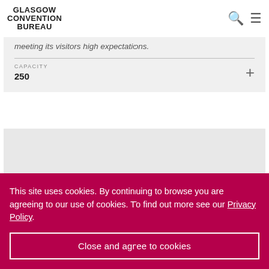GLASGOW CONVENTION BUREAU
meeting its visitors high expectations.
CAPACITY
250
This site uses cookies. By continuing to browse you are agreeing to our use of cookies. To find out more see our Privacy Policy.
Close and agree to cookies